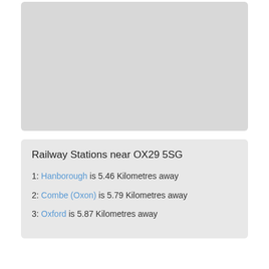[Figure (map): A grey placeholder map area showing a regional map near OX29 5SG]
Railway Stations near OX29 5SG
1: Hanborough is 5.46 Kilometres away
2: Combe (Oxon) is 5.79 Kilometres away
3: Oxford is 5.87 Kilometres away